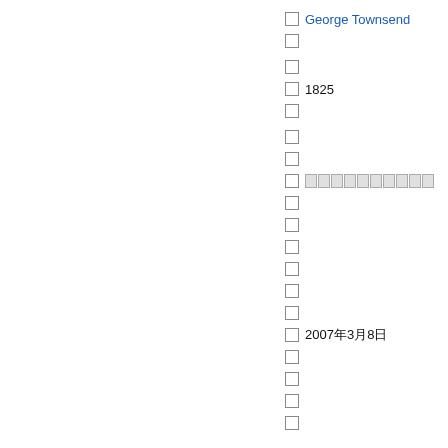George Townsend
1825
□□□□□□□□□□
2007年3月8日